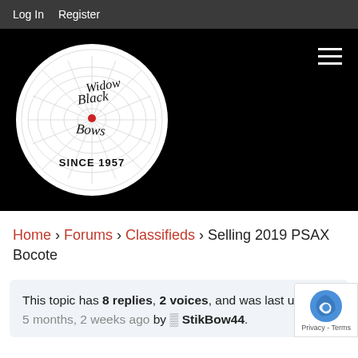Log In   Register
[Figure (logo): Black Widow Bows logo — white circle with spider web design and script text reading 'Black Widow Bows Since 1957' on a black background header]
Home › Forums › Classifieds › Selling 2019 PSAX Bocote
This topic has 8 replies, 2 voices, and was last updated 5 months, 2 weeks ago by StikBow44.